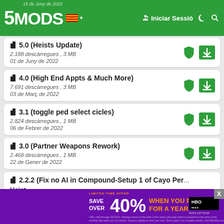5MODS — Iniciar Sessió — 15 de Juny de 2022
5.0 (Heists Update) — 2.188 descàrregues , 3 MB — 01 de Juny de 2022
4.0 (High End Appts & Much More) — 7.691 descàrregues , 3 MB — 03 de Març de 2022
3.1 (toggle ped select cicles) — 2.824 descàrregues , 1 MB — 06 de Febrer de 2022
3.0 (Partner Weapons Rework) — 2.468 descàrregues , 1 MB — 22 de Gener de 2022
2.2.2 (Fix no AI in Compound-Setup 1 of Cayo Peri... Heist... — 2.534...
[Figure (screenshot): HBO Max advertisement banner: LIMITED-TIME OFFER — SAVE OVER 40% WHEN YOU PREPAY FOR A YEAR — HBOMAX SIGN UP NOW. Fine print about monthly plan paid over 12 months.]